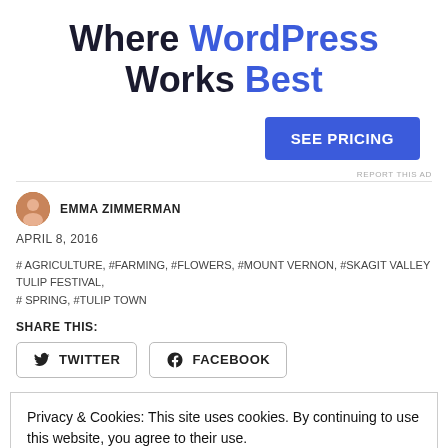Where WordPress Works Best
SEE PRICING
REPORT THIS AD
EMMA ZIMMERMAN
APRIL 8, 2016
# AGRICULTURE, #FARMING, #FLOWERS, #MOUNT VERNON, #SKAGIT VALLEY TULIP FESTIVAL, # SPRING, #TULIP TOWN
SHARE THIS:
TWITTER
FACEBOOK
Privacy & Cookies: This site uses cookies. By continuing to use this website, you agree to their use.
To find out more, including how to control cookies, see here: Cookie Policy
Close and accept